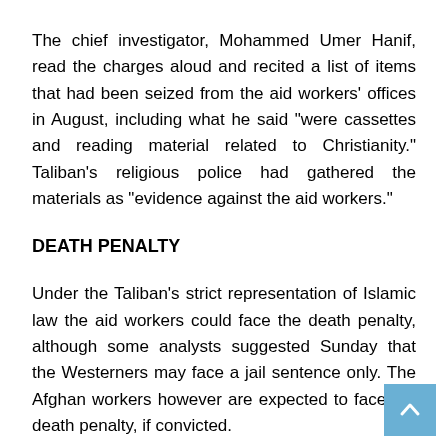The chief investigator, Mohammed Umer Hanif, read the charges aloud and recited a list of items that had been seized from the aid workers' offices in August, including what he said "were cassettes and reading material related to Christianity." Taliban's religious police had gathered the materials as "evidence against the aid workers."
DEATH PENALTY
Under the Taliban's strict representation of Islamic law the aid workers could face the death penalty, although some analysts suggested Sunday that the Westerners may face a jail sentence only. The Afghan workers however are expected to face the death penalty, if convicted.
Speaking outside Court, Pakistani lawyer Atif Ali Khan, who